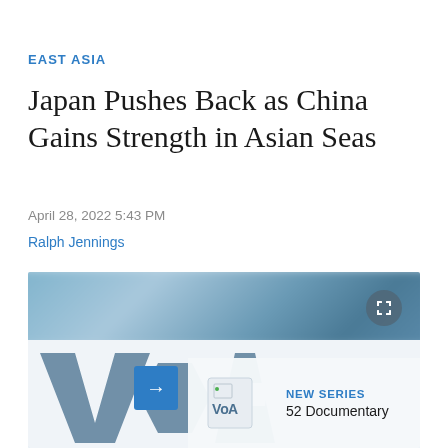EAST ASIA
Japan Pushes Back as China Gains Strength in Asian Seas
April 28, 2022 5:43 PM
Ralph Jennings
[Figure (screenshot): VOA media player screenshot showing a blurred blue ocean/sky background at top, a large translucent VOA logo, a blue arrow play button, and a 'NEW SERIES / 52 Documentary' overlay panel at bottom right with small VOA logo icon.]